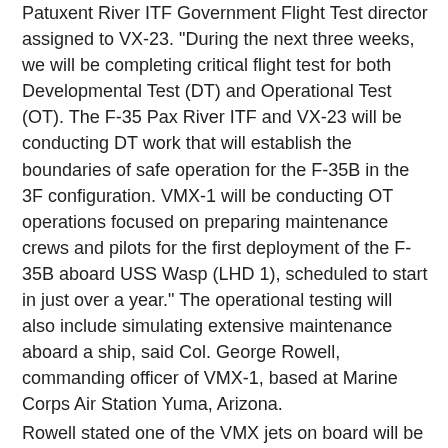Patuxent River ITF Government Flight Test director assigned to VX-23. "During the next three weeks, we will be completing critical flight test for both Developmental Test (DT) and Operational Test (OT). The F-35 Pax River ITF and VX-23 will be conducting DT work that will establish the boundaries of safe operation for the F-35B in the 3F configuration. VMX-1 will be conducting OT operations focused on preparing maintenance crews and pilots for the first deployment of the F-35B aboard USS Wasp (LHD 1), scheduled to start in just over a year." The operational testing will also include simulating extensive maintenance aboard a ship, said Col. George Rowell, commanding officer of VMX-1, based at Marine Corps Air Station Yuma, Arizona.
Rowell stated one of the VMX jets on board will be placed in the hangar bay, taken apart, and put together again, just to make sure everything goes well.
The maintenance work will include the replacement of a lift fan, the specialized equipment made by Rolls Royce and Pratt and Whitney that gives the F-35B variant its short take-off, "jump jet" capability, Rowell said.
The Marine Corps variant of the F-35 Lightning II, also called the